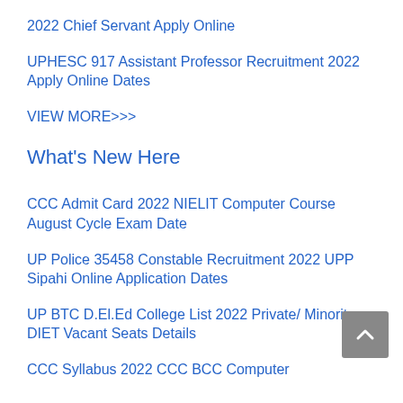2022 Chief Servant Apply Online
UPHESC 917 Assistant Professor Recruitment 2022 Apply Online Dates
VIEW MORE>>>
What's New Here
CCC Admit Card 2022 NIELIT Computer Course August Cycle Exam Date
UP Police 35458 Constable Recruitment 2022 UPP Sipahi Online Application Dates
UP BTC D.El.Ed College List 2022 Private/ Minority, DIET Vacant Seats Details
CCC Syllabus 2022 CCC BCC Computer